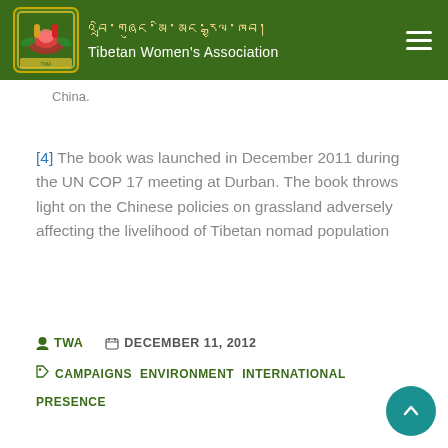Tibetan Women's Association
China.
[4] The book was launched in December 2011 during the UN COP 17 meeting at Durban. The book throws light on the Chinese policies on grassland adversely affecting the livelihood of Tibetan nomad population
TWA   DECEMBER 11, 2012
CAMPAIGNS   ENVIRONMENT   INTERNATIONAL PRESENCE